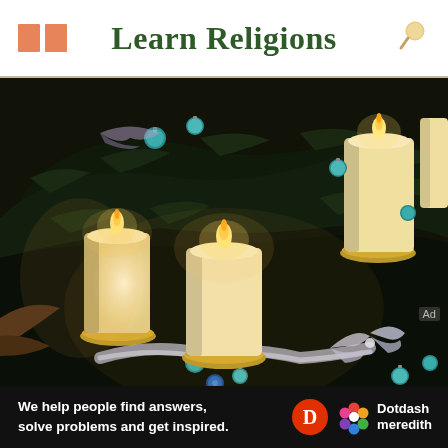Learn Religions
[Figure (photo): Advent wreath with lit candles, teal Christmas ornaments, silver ribbon, and pine greenery on a dark background.]
Ad
We help people find answers, solve problems and get inspired. Dotdash meredith